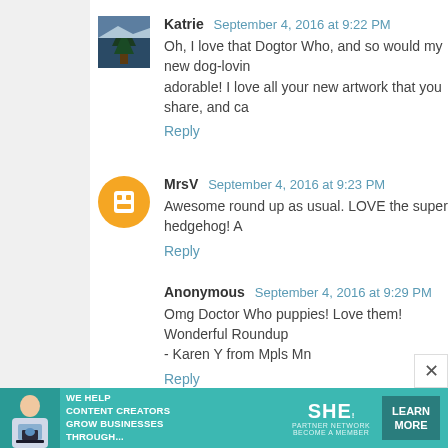Katrie  September 4, 2016 at 9:22 PM
Oh, I love that Dogtor Who, and so would my new dog-loving friend! adorable! I love all your new artwork that you share, and ca…
Reply
MrsV  September 4, 2016 at 9:23 PM
Awesome round up as usual. LOVE the super hedgehog! A…
Reply
Anonymous  September 4, 2016 at 9:29 PM
Omg Doctor Who puppies! Love them! Wonderful Roundup… - Karen Y from Mpls Mn
Reply
bubblebunnie  September 4, 2016 at 9:35 PM
Amazing! I love the Tea and Strumpets series. But the…
[Figure (infographic): Advertisement banner for SHE Partner Network with teal background, person with laptop, text 'WE HELP CONTENT CREATORS GROW BUSINESSES THROUGH...', SHE logo, and 'LEARN MORE' button]